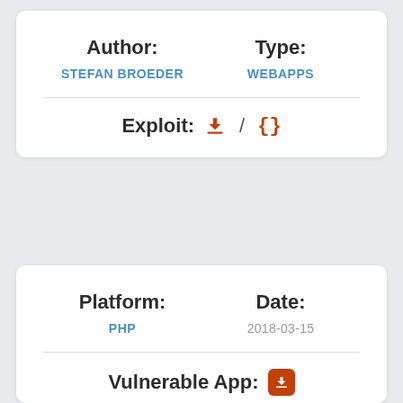Author: STEFAN BROEDER | Type: WEBAPPS
Exploit: ⬇ / {}
Platform: PHP | Date: 2018-03-15
Vulnerable App: ⬇